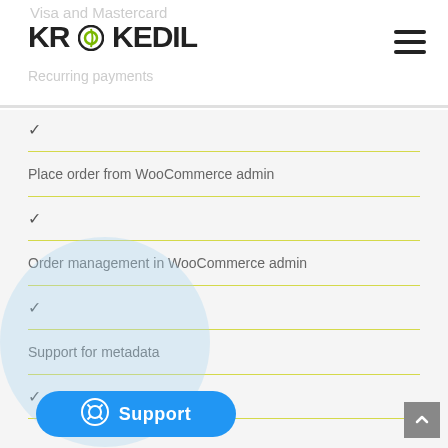Visa and Mastercard
KROKEDIL
Recurring payments
✓
Place order from WooCommerce admin
✓
Order management in WooCommerce admin
✓
Support for metadata
✓
[Figure (other): Support button with lifesaver icon and blue background, circular bubble behind it]
✓